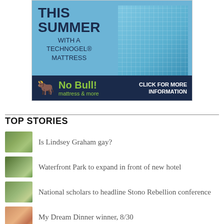[Figure (illustration): Advertisement for TECHNOGEL® Mattress featuring text 'THIS SUMMER WITH A TECHNOGEL® MATTRESS' on a blue background with image of people jumping, and a dark navy banner at the bottom reading 'No Bull! mattress & more CLICK FOR MORE INFORMATION' with a bull mascot icon.]
TOP STORIES
Is Lindsey Graham gay?
Waterfront Park to expand in front of new hotel
National scholars to headline Stono Rebellion conference
My Dream Dinner winner, 8/30